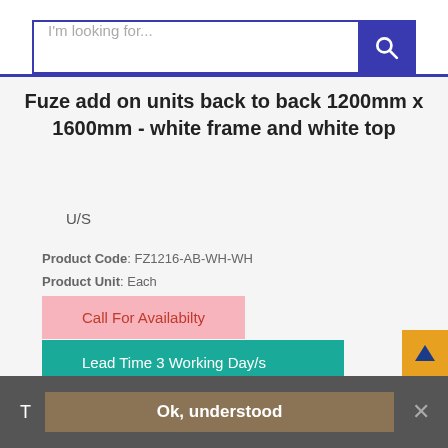[Figure (screenshot): Search bar with text placeholder 'I'm looking for...' and blue search button with magnifying glass icon]
Fuze add on units back to back 1200mm x 1600mm - white frame and white top
U/S
Product Code: FZ1216-AB-WH-WH
Product Unit: Each
Call For Availabilty
Lead Time 3 Working Day/s
(0 Reviews)  |  Be the first to